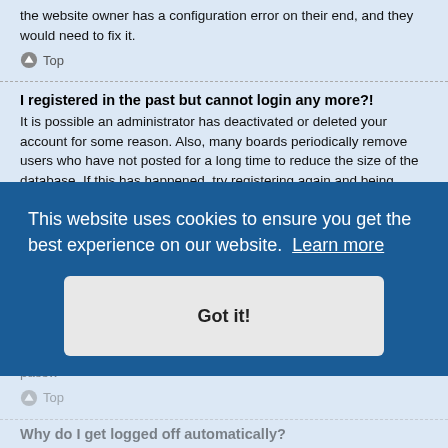the website owner has a configuration error on their end, and they would need to fix it.
Top
I registered in the past but cannot login any more?!
It is possible an administrator has deactivated or deleted your account for some reason. Also, many boards periodically remove users who have not posted for a long time to reduce the size of the database. If this has happened, try registering again and being more involved in discussions.
Top
I've lost my password!
Don't panic! While your password cannot be retrieved, it can easily be reset. Visit the login page and click I forgot my password. Follow the instructions and you should be able to log in again shortly.
This website uses cookies to ensure you get the best experience on our website. Learn more
Got it!
Why do I get logged off automatically?
If you do not check the Remember me box when you login, the board will only keep you logged in for a preset time. This prevents misuse of your account by anyone else. To stay logged in, check the Remember me box